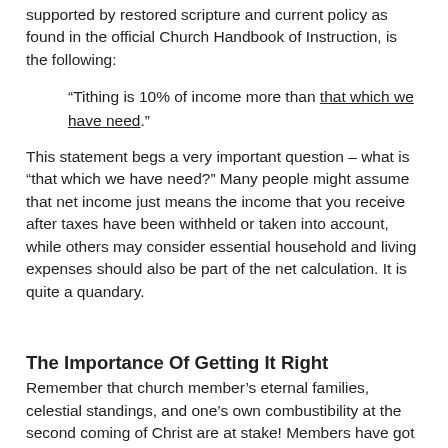supported by restored scripture and current policy as found in the official Church Handbook of Instruction, is the following:
“Tithing is 10% of income more than that which we have need.”
This statement begs a very important question – what is “that which we have need?” Many people might assume that net income just means the income that you receive after taxes have been withheld or taken into account, while others may consider essential household and living expenses should also be part of the net calculation. It is quite a quandary.
The Importance Of Getting It Right
Remember that church member’s eternal families, celestial standings, and one’s own combustibility at the second coming of Christ are at stake! Members have got to get it right. If you don’t pay the full amount owed – then you are